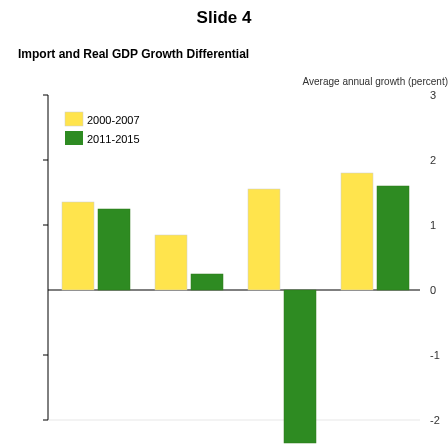Slide 4
[Figure (grouped-bar-chart): Import and Real GDP Growth Differential]